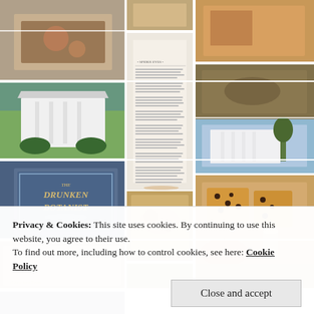[Figure (photo): Grid of food and travel photos including baked goods, a book page, a white colonial house exterior, 'The Drunken Botanist' book cover, toast with chocolate chips, drinks with food]
Privacy & Cookies: This site uses cookies. By continuing to use this website, you agree to their use.
To find out more, including how to control cookies, see here: Cookie Policy
Close and accept